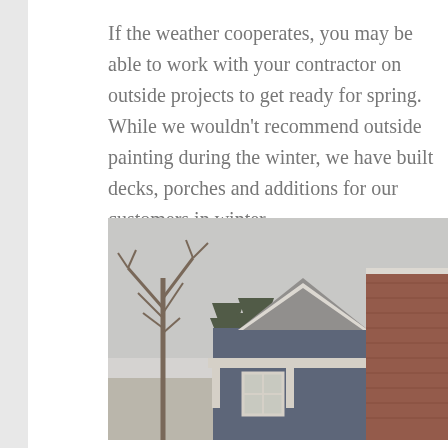If the weather cooperates, you may be able to work with your contractor on outside projects to get ready for spring. While we wouldn't recommend outside painting during the winter, we have built decks, porches and additions for our customers in winter.
[Figure (photo): Winter exterior photo of a house with blue siding and a brick chimney, surrounded by bare trees and evergreens with snow visible on the roof.]